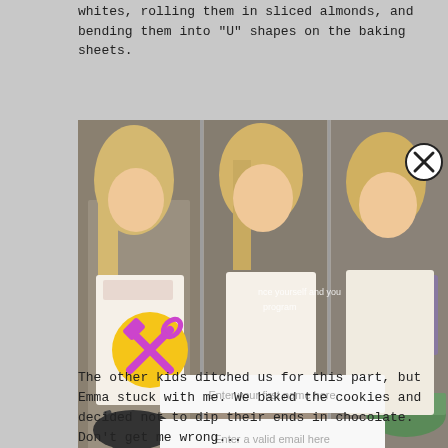whites, rolling them in sliced almonds, and bending them into "U" shapes on the baking sheets.
[Figure (photo): Three side-by-side photos of a young girl with blonde hair wearing a patterned apron, baking cookies. A tool/wrench icon overlay in yellow/purple appears on the left photo. A close button (X) appears top right. An overlay popup with text input fields for first name and email, and a teal Subscribe button appears over the center of the image.]
The other kids ditched us for this part, but Emma stuck with me. We baked the cookies and decided not to dip their ends in chocolate. Don't get me wrong...